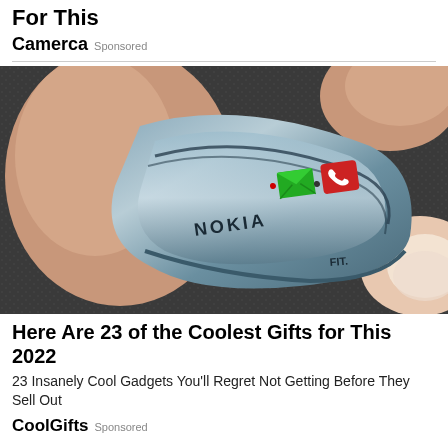For This
Camerca | Sponsored
[Figure (photo): Close-up photo of a finger-worn Nokia FIT device — a slim metallic ring-shaped phone sitting on a dark textured surface, with a green envelope icon and red phone icon visible on its face. A person's thumb/finger is shown wearing it.]
Here Are 23 of the Coolest Gifts for This 2022
23 Insanely Cool Gadgets You'll Regret Not Getting Before They Sell Out
CoolGifts | Sponsored